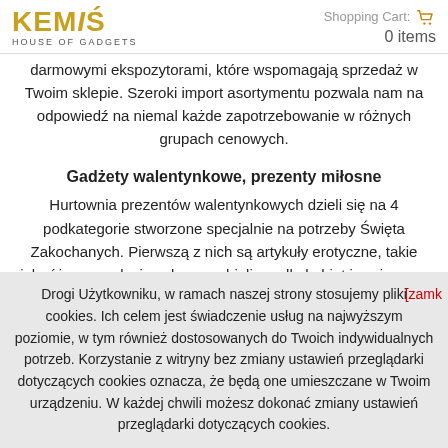KEMIŚ HOUSE OF GADGETS | Shopping Cart: 0 items
darmowymi ekspozytorami, które wspomagają sprzedaż w Twoim sklepie. Szeroki import asortymentu pozwala nam na odpowiedź na niemal każde zapotrzebowanie w różnych grupach cenowych.
Gadżety walentynkowe, prezenty miłosne
Hurtownia prezentów walentynkowych dzieli się na 4 podkategorie stworzone specjalnie na potrzeby Święta Zakochanych. Pierwszą z nich są artykuły erotyczne, takie jak różnego rodzaju seksowna bielizna dla kobiet i mężczyzn, erotyczne kubki lub gadżety dostępne w sexshopach. W kolejnej zakładce znajdziesz gry miłosne i erotyczne, które zapewnią wszystkim parom dobrą
Drogi Użytkowniku, w ramach naszej strony stosujemy pliki cookies. Ich celem jest świadczenie usług na najwyższym poziomie, w tym również dostosowanych do Twoich indywidualnych potrzeb. Korzystanie z witryny bez zmiany ustawień przeglądarki dotyczących cookies oznacza, że będą one umieszczane w Twoim urządzeniu. W każdej chwili możesz dokonać zmiany ustawień przeglądarki dotyczących cookies.